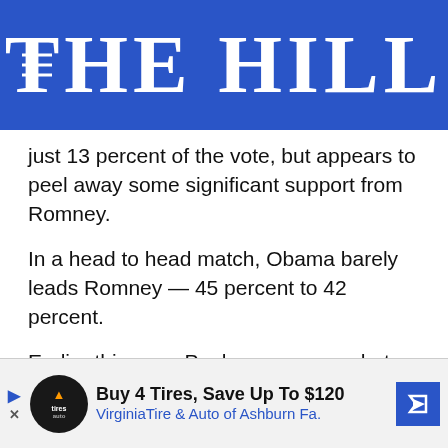THE HILL
just 13 percent of the vote, but appears to peel away some significant support from Romney.
In a head to head match, Obama barely leads Romney — 45 percent to 42 percent.
Earlier this year, Paul won a somewhat surprising victory in the Conservative Political Action Conference's presidential straw poll.
Paul has not said whether he intends to run again in 2012, but should he decide to jump in there's little doubt he would still be able to garner some notable fundraising and energy from grassroots and online suppo...
[Figure (other): Advertisement banner: Buy 4 Tires, Save Up To $120 — Virginia Tire & Auto of Ashburn Fa.]